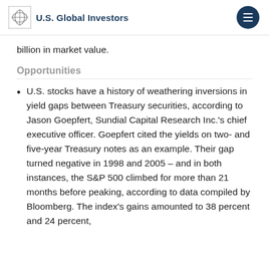U.S. Global Investors
billion in market value.
Opportunities
U.S. stocks have a history of weathering inversions in yield gaps between Treasury securities, according to Jason Goepfert, Sundial Capital Research Inc.'s chief executive officer. Goepfert cited the yields on two- and five-year Treasury notes as an example. Their gap turned negative in 1998 and 2005 – and in both instances, the S&P 500 climbed for more than 21 months before peaking, according to data compiled by Bloomberg. The index's gains amounted to 38 percent and 24 percent,